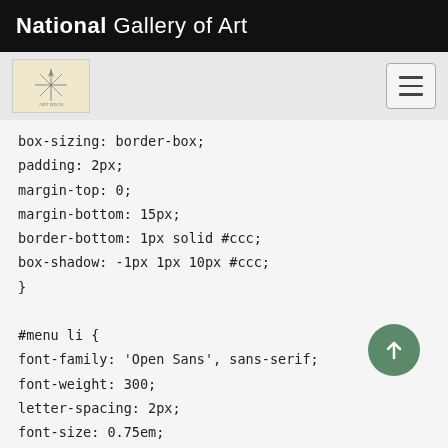National Gallery of Art
[Figure (screenshot): Navigation bar with NGA logo/compass icon on left and hamburger menu button on right, on light grey background]
box-sizing: border-box;
padding: 2px;
margin-top: 0;
margin-bottom: 15px;
border-bottom: 1px solid #ccc;
box-shadow: -1px 1px 10px #ccc;
}

#menu li {
font-family: 'Open Sans', sans-serif;
font-weight: 300;
letter-spacing: 2px;
font-size: 0.75em;
line-height: 28px;
}

#tagline a {